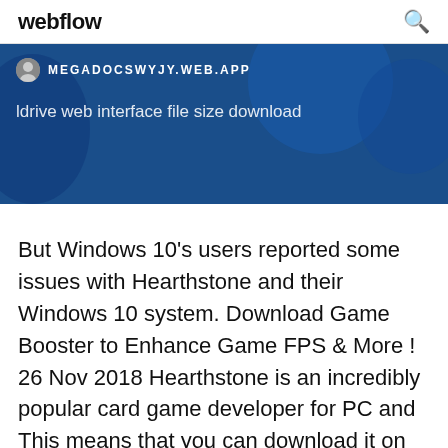webflow
[Figure (screenshot): Blue banner with circular decorative shapes, showing domain MEGADOCSWYJY.WEB.APP and subtitle 'ldrive web interface file size download']
But Windows 10's users reported some issues with Hearthstone and their Windows 10 system. Download Game Booster to Enhance Game FPS & More ! 26 Nov 2018 Hearthstone is an incredibly popular card game developer for PC and This means that you can download it on both platforms